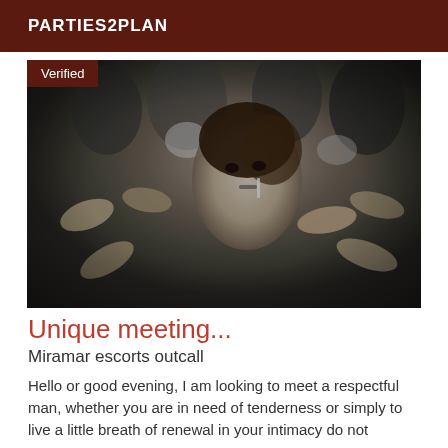PARTIES2PLAN
[Figure (photo): Black and white vintage photograph of a young woman with curly hair smoking a cigarette, surrounded by many hands reaching toward her, in a crowd setting. A 'Verified' badge appears in the top-left corner of the image.]
Unique meeting...
Miramar escorts outcall
Hello or good evening, I am looking to meet a respectful man, whether you are in need of tenderness or simply to live a little breath of renewal in your intimacy do not